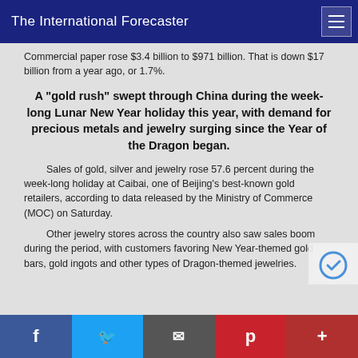The International Forecaster
Commercial paper rose $3.4 billion to $971 billion. That is down $17 billion from a year ago, or 1.7%.
A "gold rush" swept through China during the week-long Lunar New Year holiday this year, with demand for precious metals and jewelry surging since the Year of the Dragon began.
Sales of gold, silver and jewelry rose 57.6 percent during the week-long holiday at Caibai, one of Beijing's best-known gold retailers, according to data released by the Ministry of Commerce (MOC) on Saturday.
Other jewelry stores across the country also saw sales boom during the period, with customers favoring New Year-themed gold bars, gold ingots and other types of Dragon-themed jewelries.